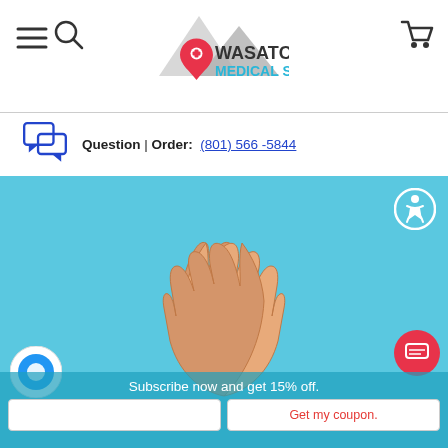Wasatch Medical Supply — navigation header with hamburger menu, search icon, logo, and cart icon
Question | Order: (801) 566-5844
[Figure (photo): Hero banner showing two hands pressed together (prayer position) against a light blue background, with an accessibility icon in the top-right corner, a pink chat button in the bottom-right, and a blue chat circle in the bottom-left. A 'Subscribe now and get 15% off.' bar with an email input and 'Get my coupon.' button is visible at the bottom.]